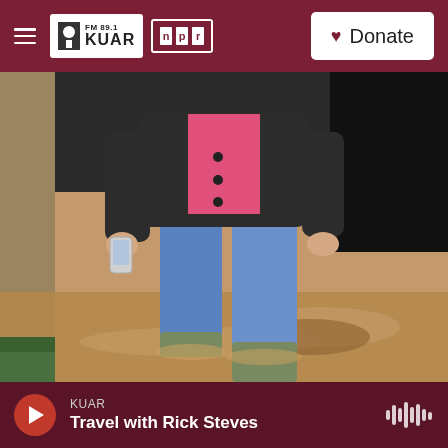FM 89.1 KUAR | NPR | Donate
[Figure (photo): Person standing in shallow muddy floodwater, wearing blue jeans, black cardigan over pink top, holding a smartphone, photographed from torso down near a concrete structure at night]
KUAR — Travel with Rick Steves